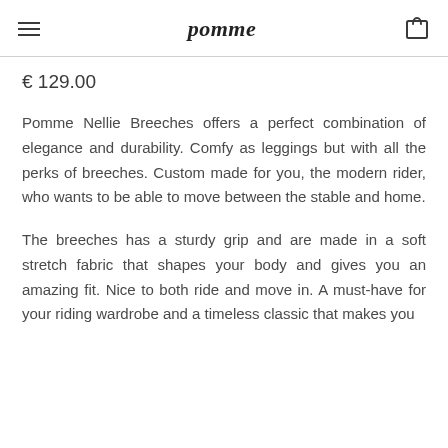pomme
€ 129.00
Pomme Nellie Breeches offers a perfect combination of elegance and durability. Comfy as leggings but with all the perks of breeches. Custom made for you, the modern rider, who wants to be able to move between the stable and home.
The breeches has a sturdy grip and are made in a soft stretch fabric that shapes your body and gives you an amazing fit. Nice to both ride and move in. A must-have for your riding wardrobe and a timeless classic that makes you